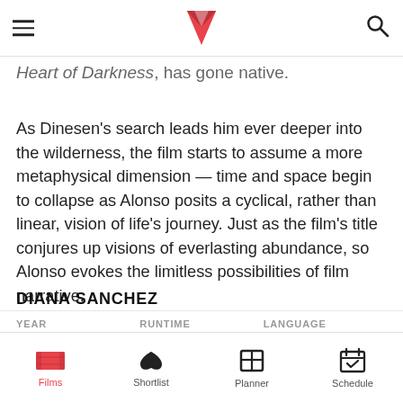[Navigation bar with hamburger menu, logo, and search icon]
Heart of Darkness, has gone native.
As Dinesen's search leads him ever deeper into the wilderness, the film starts to assume a more metaphysical dimension — time and space begin to collapse as Alonso posits a cyclical, rather than linear, vision of life's journey. Just as the film's title conjures up visions of everlasting abundance, so Alonso evokes the limitless possibilities of film narrative.
DIANA SANCHEZ
YEAR    RUNTIME    LANGUAGE
Films  Shortlist  Planner  Schedule